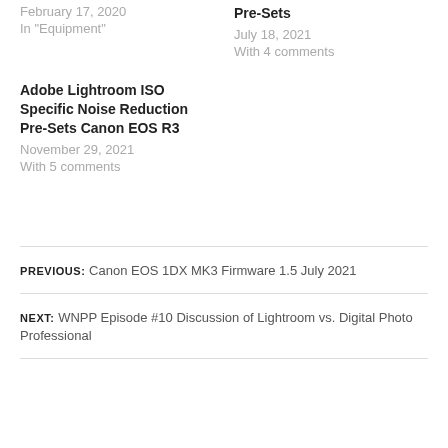February 17, 2020
In "Equipment"
Pre-Sets
July 18, 2021
With 4 comments
Adobe Lightroom ISO Specific Noise Reduction Pre-Sets Canon EOS R3
November 29, 2021
With 5 comments
PREVIOUS: Canon EOS 1DX MK3 Firmware 1.5 July 2021
NEXT: WNPP Episode #10 Discussion of Lightroom vs. Digital Photo Professional